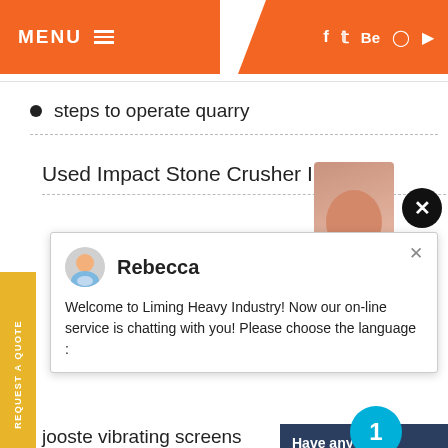MENU  [hamburger] | f  t  Be  [pinterest]  [youtube]
steps to operate quarry
Used Impact Stone Crusher In Usa
[Figure (photo): Partial photo of a person (woman) in the background on the right side]
[Figure (screenshot): Chat popup with avatar of Rebecca. Text: Welcome to Liming Heavy Industry! Now our on-line service is chatting with you! Please choose the language :]
jooste vibrating screens
silica sand plant design cost Botsw...
sri lankan metal crushing industry
Have any [question?] click here.
Quota [up arrow]
Enquiry
drobilkalm